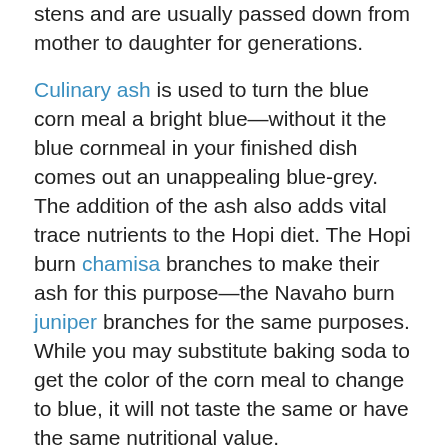stens and are usually passed down from mother to daughter for generations.
Culinary ash is used to turn the blue corn meal a bright blue—without it the blue cornmeal in your finished dish comes out an unappealing blue-grey. The addition of the ash also adds vital trace nutrients to the Hopi diet. The Hopi burn chamisa branches to make their ash for this purpose—the Navaho burn juniper branches for the same purposes. While you may substitute baking soda to get the color of the corn meal to change to blue, it will not taste the same or have the same nutritional value.
Note: There are several plants and herbs used in making Hopi culinary ash—besides chamisa—but you will never find out which ones, unless you follow a grandmother out collecting them to make more ash like my wife and daughter did and they are sworn